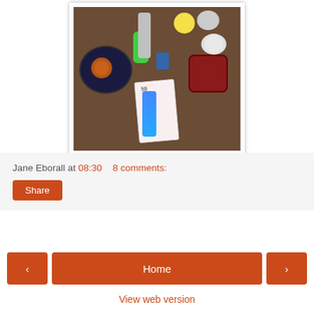[Figure (photo): Photograph of various craft and sewing supplies laid out on a brown carpet, including thread spools, a purse/pouch, a buckle, small tools, and a blue toothbrush-like tool with price tag.]
Jane Eborall at 08:30    8 comments:
Share
<
Home
>
View web version